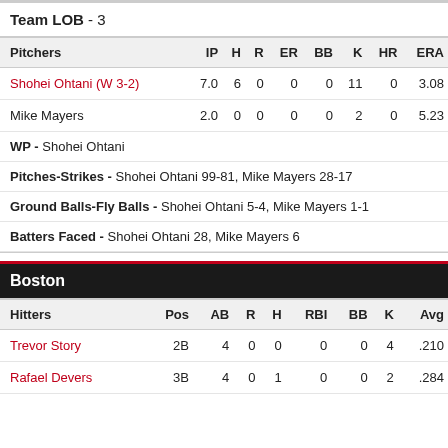Team LOB - 3
| Pitchers | IP | H | R | ER | BB | K | HR | ERA |
| --- | --- | --- | --- | --- | --- | --- | --- | --- |
| Shohei Ohtani (W 3-2) | 7.0 | 6 | 0 | 0 | 0 | 11 | 0 | 3.08 |
| Mike Mayers | 2.0 | 0 | 0 | 0 | 0 | 2 | 0 | 5.23 |
WP - Shohei Ohtani
Pitches-Strikes - Shohei Ohtani 99-81, Mike Mayers 28-17
Ground Balls-Fly Balls - Shohei Ohtani 5-4, Mike Mayers 1-1
Batters Faced - Shohei Ohtani 28, Mike Mayers 6
Boston
| Hitters | Pos | AB | R | H | RBI | BB | K | Avg |
| --- | --- | --- | --- | --- | --- | --- | --- | --- |
| Trevor Story | 2B | 4 | 0 | 0 | 0 | 0 | 4 | .210 |
| Rafael Devers | 3B | 4 | 0 | 1 | 0 | 0 | 2 | .284 |